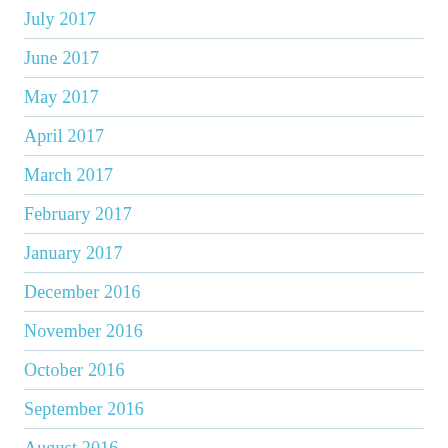July 2017
June 2017
May 2017
April 2017
March 2017
February 2017
January 2017
December 2016
November 2016
October 2016
September 2016
August 2016